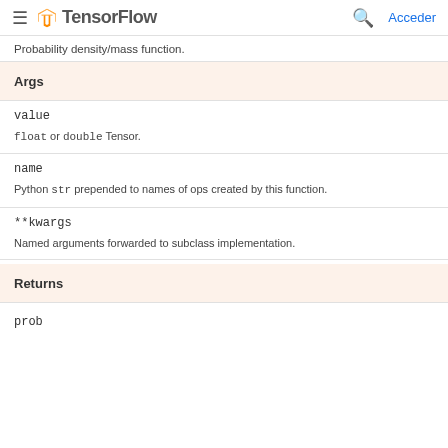TensorFlow  Acceder
Probability density/mass function.
Args
value
float or double Tensor.
name
Python str prepended to names of ops created by this function.
**kwargs
Named arguments forwarded to subclass implementation.
Returns
prob